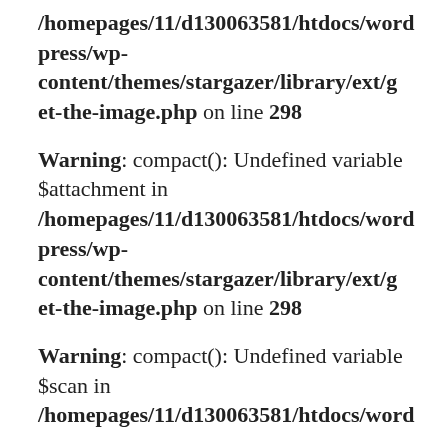/homepages/11/d130063581/htdocs/wordpress/wp-content/themes/stargazer/library/ext/get-the-image.php on line 298
Warning: compact(): Undefined variable $attachment in /homepages/11/d130063581/htdocs/wordpress/wp-content/themes/stargazer/library/ext/get-the-image.php on line 298
Warning: compact(): Undefined variable $scan in /homepages/11/d130063581/htdocs/word